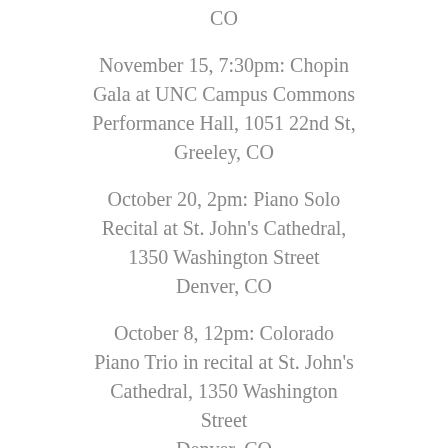CO
November 15, 7:30pm: Chopin Gala at UNC Campus Commons Performance Hall, 1051 22nd St, Greeley, CO
October 20, 2pm: Piano Solo Recital at St. John's Cathedral, 1350 Washington Street Denver, CO
October 8, 12pm: Colorado Piano Trio in recital at St. John's Cathedral, 1350 Washington Street Denver, CO
October 6, 2pm: Debut Recital at